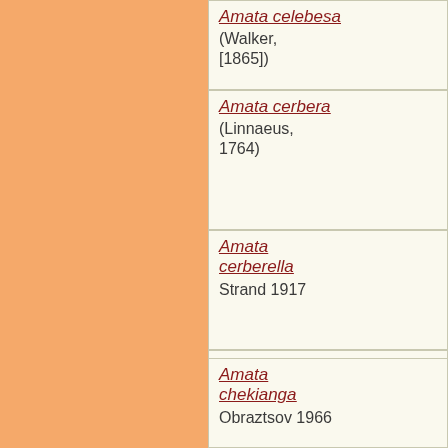| Species | Author |
| --- | --- |
| Amata celebesa | (Walker, [1865]) |
| Amata cerbera | (Linnaeus, 1764) |
| Amata cerberella | Strand 1917 |
| Amata ceres | (Oberthür, 1878) |
| Amata chekianga | Obraztsov 1966 |